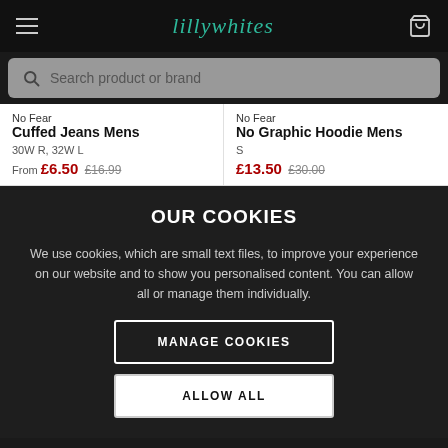Lillywhites navigation header with hamburger menu, logo, and bag icon
Search product or brand
No Fear
Cuffed Jeans Mens
30W R, 32W L
From £6.50 £16.99
No Fear
No Graphic Hoodie Mens
S
£13.50 £30.00
OUR COOKIES
We use cookies, which are small text files, to improve your experience on our website and to show you personalised content. You can allow all or manage them individually.
MANAGE COOKIES
ALLOW ALL